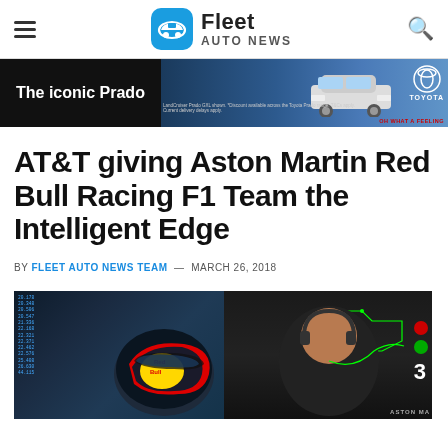Fleet Auto News
[Figure (illustration): Toyota Land Cruiser Prado advertisement banner with text 'The iconic Prado' on dark background with vehicle image and Toyota logo]
AT&T giving Aston Martin Red Bull Racing F1 Team the Intelligent Edge
BY FLEET AUTO NEWS TEAM — MARCH 26, 2018
[Figure (photo): Red Bull Racing F1 helmet on left side with timing data overlay, and Christian Horner on right side with headphones and Aston Martin branding, circuit graphic visible]